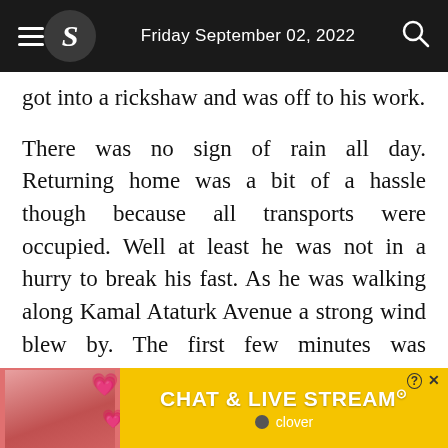Friday September 02, 2022
got into a rickshaw and was off to his work.
There was no sign of rain all day. Returning home was a bit of a hassle though because all transports were occupied. Well at least he was not in a hurry to break his fast. As he was walking along Kamal Ataturk Avenue a strong wind blew by. The first few minutes was relaxing, but it was only a matter of seconds before a storm broke out. Niladri took a few steps inside the entrance of a garage of the building beside him and took out his mobile to scroll through Facebook while he waited for the storm to cease.
[Figure (advertisement): Yellow advertisement banner for CHAT & LIVE STREAM by Clover, featuring a woman in a bikini on a beach with heart emojis]